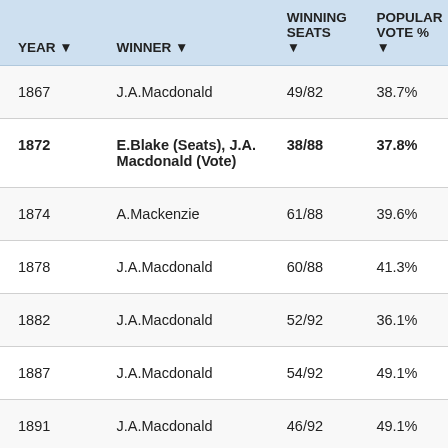| YEAR | WINNER | WINNING SEATS | POPULAR VOTE % |
| --- | --- | --- | --- |
| 1867 | J.A.Macdonald | 49/82 | 38.7% |
| 1872 | E.Blake (Seats), J.A. Macdonald (Vote) | 38/88 | 37.8% |
| 1874 | A.Mackenzie | 61/88 | 39.6% |
| 1878 | J.A.Macdonald | 60/88 | 41.3% |
| 1882 | J.A.Macdonald | 52/92 | 36.1% |
| 1887 | J.A.Macdonald | 54/92 | 49.1% |
| 1891 | J.A.Macdonald | 46/92 | 49.1% |